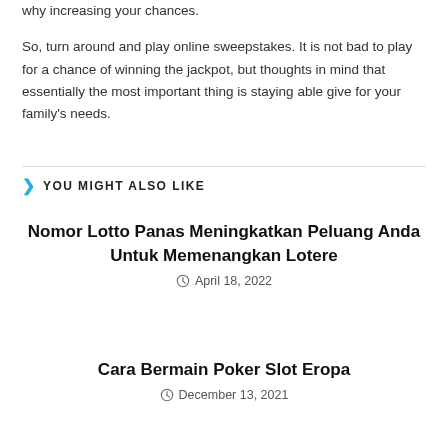why increasing your chances.

So, turn around and play online sweepstakes. It is not bad to play for a chance of winning the jackpot, but thoughts in mind that essentially the most important thing is staying able give for your family's needs.
YOU MIGHT ALSO LIKE
Nomor Lotto Panas Meningkatkan Peluang Anda Untuk Memenangkan Lotere
April 18, 2022
Cara Bermain Poker Slot Eropa
December 13, 2021